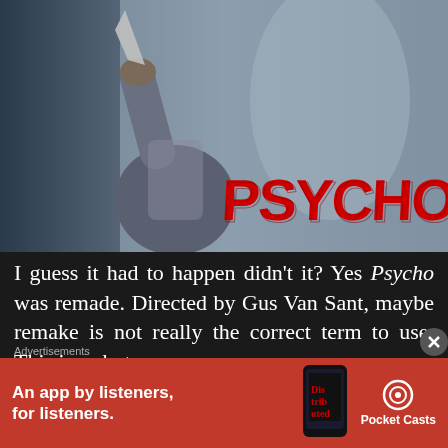[Figure (photo): Movie still from Psycho showing a figure holding a knife raised overhead, with the red PSYCHO logo text overlay in the lower right of the image]
I guess it had to happen didn't it? Yes Psycho was remade. Directed by Gus Van Sant, maybe remake is not really the correct term to use. This is a shot
Advertisements
[Figure (infographic): Pocket Casts advertisement banner with red background. Text: An app by listeners, for listeners. Shows a phone with app and Pocket Casts logo.]